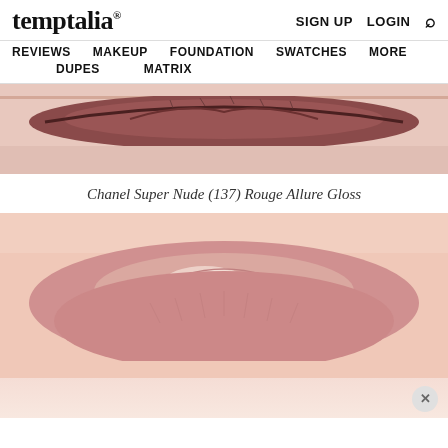temptalia® — SIGN UP   LOGIN   🔍
REVIEWS   MAKEUP   FOUNDATION   SWATCHES   MORE
DUPES   MATRIX
[Figure (photo): Close-up photo of lips wearing a deep dark lip product on a fair-skinned model, upper portion of lips only visible]
Chanel Super Nude (137) Rouge Allure Gloss
[Figure (photo): Close-up photo of lips wearing Chanel Super Nude (137) Rouge Allure Gloss lip gloss on a fair-skinned model, showing a sheer pinkish-nude gloss with a glossy highlight]
[Figure (photo): Bottom portion of a swatch or lip image, partially cropped, with a close button overlay]